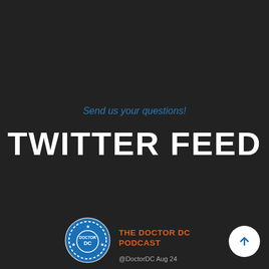Send us your questions!
TWITTER FEED
[Figure (logo): Doctor DC circular logo with blue background, white stars, and 'DOCTOR DC' text in center]
THE DOCTOR DC PODCAST
@DoctorDC Aug 24